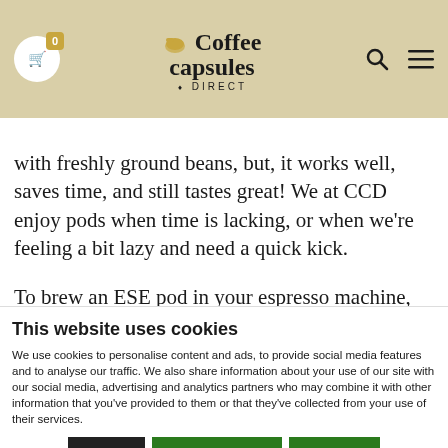Coffee Capsules Direct
with freshly ground beans, but, it works well, saves time, and still tastes great! We at CCD enjoy pods when time is lacking, or when we're feeling a bit lazy and need a quick kick.

To brew an ESE pod in your espresso machine, you need a singl...
This website uses cookies
We use cookies to personalise content and ads, to provide social media features and to analyse our traffic. We also share information about your use of our site with our social media, advertising and analytics partners who may combine it with other information that you've provided to them or that they've collected from your use of their services.
Deny  Allow selection  Allow all
Necessary  Preferences  Statistics  Marketing  Show details